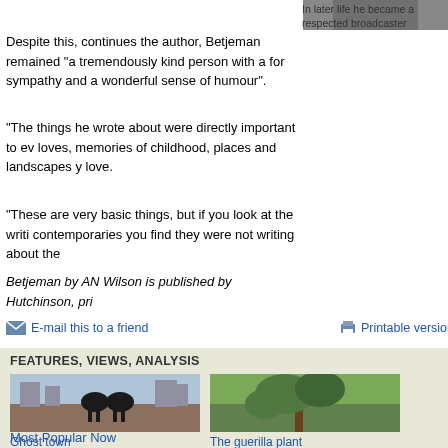[Figure (photo): Photo of a person in later life, partially visible in top right corner]
In later life he became a respected broadcaster
Despite this, continues the author, Betjeman remained "a tremendously kind person with a for sympathy and a wonderful sense of humour".
"The things he wrote about were directly important to ev loves, memories of childhood, places and landscapes y love.
"These are very basic things, but if you look at the writi contemporaries you find they were not writing about the
Betjeman by AN Wilson is published by Hutchinson, pri
E-mail this to a friend
Printable version
FEATURES, VIEWS, ANALYSIS
[Figure (photo): Photo of two horse sculptures facing each other against a city skyline background - Ghost town]
Ghost town
Has China's housing bubble burst?
[Figure (photo): Photo of an old tree with spreading branches - The guerilla plant]
The guerilla plant
How the world's oldest clove tree defied an empire
Most Popular Now